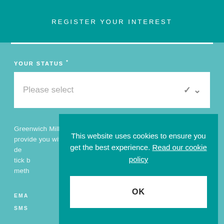REGISTER YOUR INTEREST
YOUR STATUS *
Please select
Greenwich Millennium Village may use this information to provide you with updates on this development, plus details of de tick meth
EMA
SMS
This website uses cookies to ensure you get the best experience. Read our cookie policy
OK